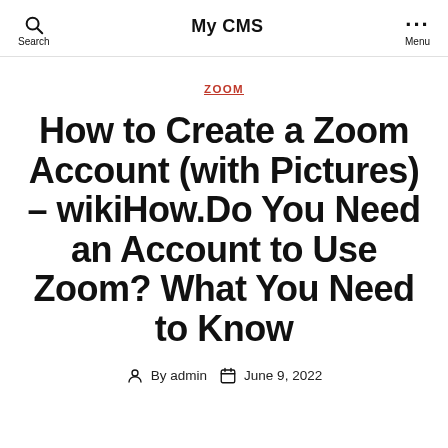Search | My CMS | Menu
ZOOM
How to Create a Zoom Account (with Pictures) – wikiHow.Do You Need an Account to Use Zoom? What You Need to Know
By admin   June 9, 2022